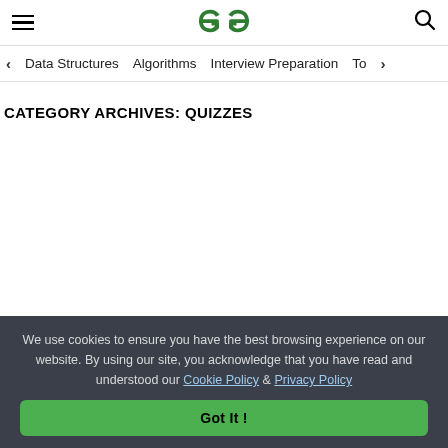GeeksforGeeks header with hamburger menu, logo, and search icon
< Data Structures   Algorithms   Interview Preparation   To>
CATEGORY ARCHIVES: QUIZZES
We use cookies to ensure you have the best browsing experience on our website. By using our site, you acknowledge that you have read and understood our Cookie Policy & Privacy Policy
Got It !